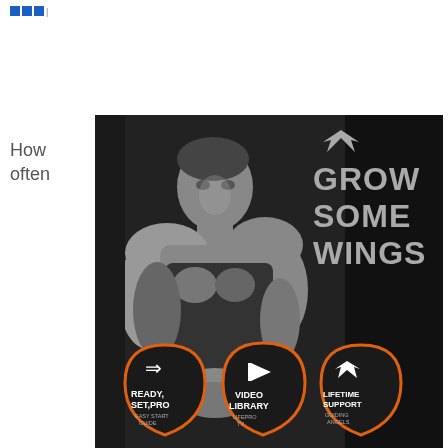How often
[Figure (photo): Fitness advertisement showing a muscular man in black tank top in black and white photo. Text on right reads 'GROW SOME WINGS' with a wing logo above. Bottom shows three shield/plectrum shaped icons with orange borders: 'READY, SET, PRO - EASY START GUIDE', 'VIDEO LIBRARY - LIFEPRO TV', 'LIFETIME SUPPORT - GUIDING ANGELS']